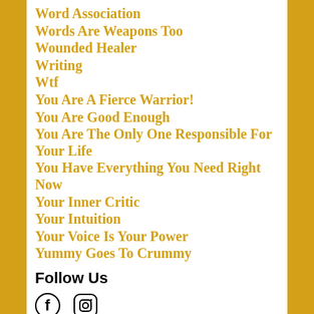Word Association
Words Are Weapons Too
Wounded Healer
Writing
Wtf
You Are A Fierce Warrior!
You Are Good Enough
You Are The Only One Responsible For Your Life
You Have Everything You Need Right Now
Your Inner Critic
Your Intuition
Your Voice Is Your Power
Yummy Goes To Crummy
Follow Us
[Figure (illustration): Social media icons: Facebook (f) and Instagram (camera) icons]